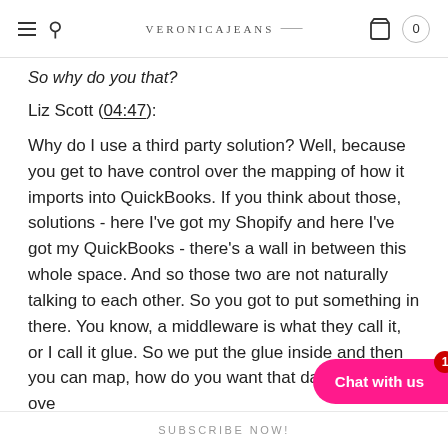VERONICAJEANS
So why do you that?
Liz Scott (04:47):
Why do I use a third party solution? Well, because you get to have control over the mapping of how it imports into QuickBooks. If you think about those, solutions - here I've got my Shopify and here I've got my QuickBooks - there's a wall in between this whole space. And so those two are not naturally talking to each other. So you got to put something in there. You know, a middleware is what they call it, or I call it glue. So we put the glue inside and then you can map, how do you want that data to come ove
SUBSCRIBE NOW!